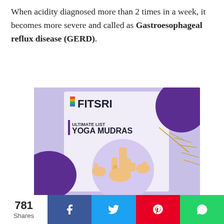When acidity diagnosed more than 2 times in a week, it becomes more severe and called as Gastroesophageal reflux disease (GERD).
[Figure (illustration): Fitsri branded promotional image for 'Ultimate List Yoga Mudras' showing hand mudra illustrations on a purple and lavender background]
781 Shares | Facebook | Twitter | Pinterest | WhatsApp